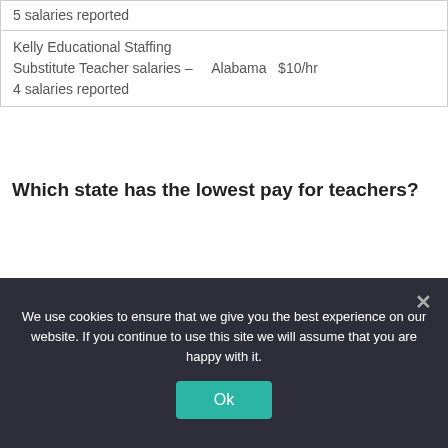| 5 salaries reported |
| Kelly Educational Staffing
Substitute Teacher salaries –     Alabama   $10/hr
4 salaries reported |
Which state has the lowest pay for teachers?
Mississippi
Mississippi has the lowest average teacher salary of $45,574, followed by West Virginia with $47,826. The other states with average teacher salaries under $50,000 are New Mexico...
We use cookies to ensure that we give you the best experience on our website. If you continue to use this site we will assume that you are happy with it.